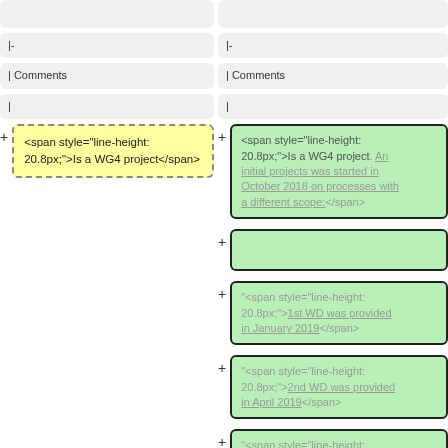|-
| Comments
|
<span style="line-height: 20.8px;">Is a WG4 project</span>
|-
| Comments
|
<span style="line-height: 20.8px;">Is a WG4 project. An initial projects was started in October 2018 on processes with a different scope:</span>
"<span style="line-height: 20.8px;">1st WD was provided in January 2019</span>
"<span style="line-height: 20.8px;">2nd WD was provided in April 2019</span>
"<span style="line-height: 20.8px;">3rd WD was provided in October 2019</span>